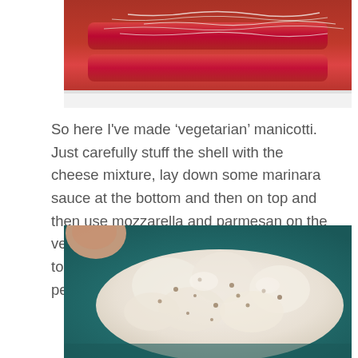[Figure (photo): Close-up photo of manicotti pasta tubes with red marinara sauce and shredded cheese in a white dish, viewed from above.]
So here I've made 'vegetarian' manicotti. Just carefully stuff the shell with the cheese mixture, lay down some marinara sauce at the bottom and then on top and then use mozzarella and parmesan on the very top. I also add more spices to the top, especially some heat like cayenne pepper.
[Figure (photo): Close-up photo of a ricotta and cheese mixture with herbs and spices in a teal/green bowl, showing the lumpy white cheese mixture with brown specks.]